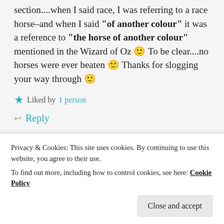section....when I said race, I was referring to a race horse–and when I said “of another colour” it was a reference to “the horse of another colour” mentioned in the Wizard of Oz 🙂 To be clear....no horses were ever beaten 🙂 Thanks for slogging your way through 🙂
★ Liked by 1 person
Reply
WEIRD WEEKENDS
Privacy & Cookies: This site uses cookies. By continuing to use this website, you agree to their use. To find out more, including how to control cookies, see here: Cookie Policy
Close and accept